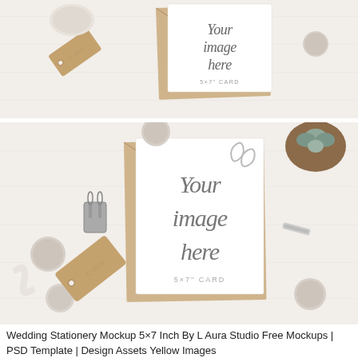[Figure (photo): Top-down flat lay photo of a 5x7 inch card mockup with kraft envelope, round felt balls, and kraft paper gift tag on white surface. Card reads 'Your image here' in script and '5×7" CARD' below.]
[Figure (photo): Top-down flat lay photo of a 5x7 inch card mockup with kraft envelope, round felt balls, metal binder clip, paper clips, succulent plant, and kraft paper gift tag on white surface. Card reads 'Your image here' in script and '5×7" CARD' below.]
Wedding Stationery Mockup 5×7 Inch By L Aura Studio Free Mockups | PSD Template | Design Assets Yellow Images